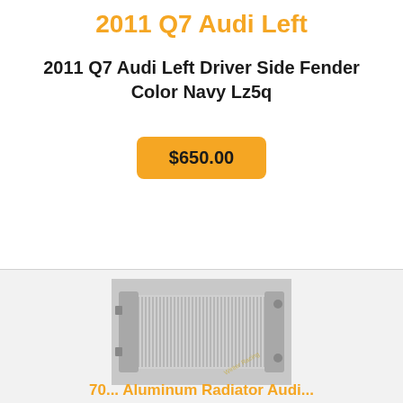2011 Q7 Audi Left
2011 Q7 Audi Left Driver Side Fender Color Navy Lz5q
$650.00
[Figure (photo): Photo of an aluminum radiator with fins visible, side tanks, and watermark text in bottom right corner.]
70... Aluminum Radiator Audi...